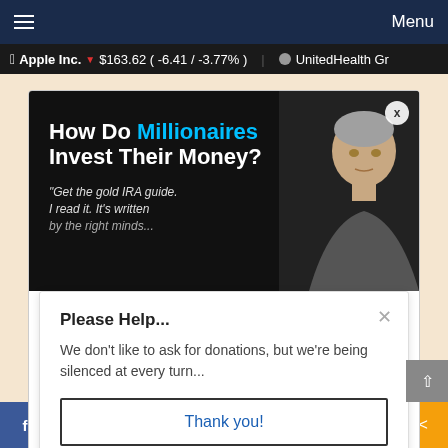Menu
Apple Inc. ▼ $163.62 ( -6.41 / -3.77% )   UnitedHealth Gr
[Figure (screenshot): Advertisement banner: 'How Do Millionaires Invest Their Money?' with man's face on dark background]
Please Help...
We don't like to ask for donations, but we're being silenced at every turn...
Thank you!